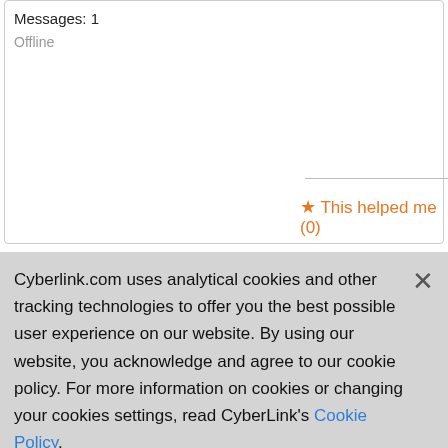Messages: 1
Offline
★ This helped me (0)
SoNic67
Mar 01, 2015 10:43
[Figure (illustration): Avatar image of Sonic the Hedgehog cartoon character]
Allan, my files come directly from 8.1.
I actually used the files with a GT5
Note that HA will be enabled only

However, I don't have that card anymore with latest patches c
Cyberlink.com uses analytical cookies and other tracking technologies to offer you the best possible user experience on our website. By using our website, you acknowledge and agree to our cookie policy. For more information on cookies or changing your cookies settings, read CyberLink's Cookie Policy.